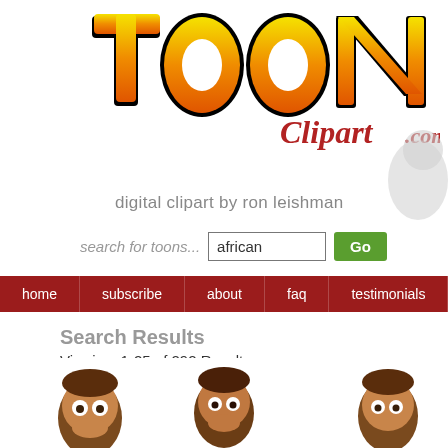[Figure (logo): ToonClipart.com logo — TOON in large orange/yellow gradient bold cartoon letters with black outline, Clipart.com in dark red italic serif font]
digital clipart by ron leishman
search for toons...  [african]  Go
home  subscribe  about  faq  testimonials  con...
Search Results
Viewing: 1-25 of 292 Results
Show: 5 Rows ▾    Go to Page: 0  Go
[Figure (illustration): Three cartoon African American characters (heads/busts) partially visible at bottom of page]